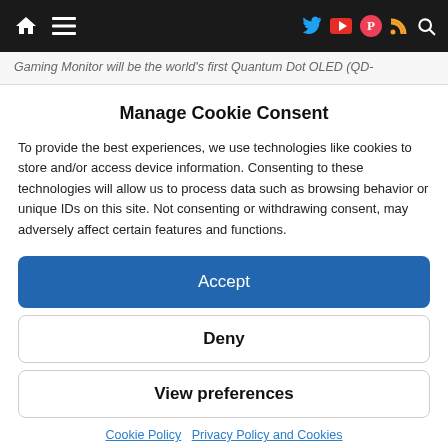Navigation bar with home, menu, Twitter, YouTube, Pocket, RSS, and Search icons
Gaming Monitor will be the world's first Quantum Dot OLED (QD-
Manage Cookie Consent
To provide the best experiences, we use technologies like cookies to store and/or access device information. Consenting to these technologies will allow us to process data such as browsing behavior or unique IDs on this site. Not consenting or withdrawing consent, may adversely affect certain features and functions.
Accept
Deny
View preferences
Cookie Policy   Privacy Policy and Cookies